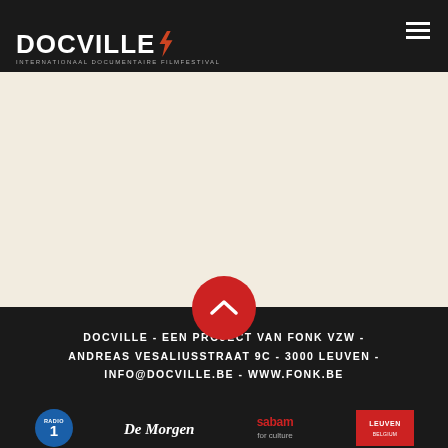DOCVILLE / INTERNATIONAAL DOCUMENTAIRE FILMFESTIVAL
[Figure (screenshot): Cream/beige empty content area below the header]
[Figure (illustration): Red circular scroll-to-top button with white chevron arrow]
DOCVILLE - EEN PROJECT VAN FONK VZW - ANDREAS VESALIUSSTRAAT 9C - 3000 LEUVEN - INFO@DOCVILLE.BE - WWW.FONK.BE
[Figure (logo): Sponsor logos: Radio 1, De Morgen, sabam for culture, Leuven]